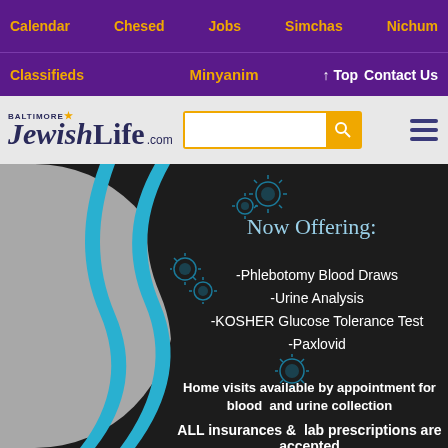Calendar  Chesed  Jobs  Simchas  Nichum
Classifieds  Minyanim  ↑ Top  Contact Us
[Figure (logo): Baltimore Jewish Life .com logo with search bar and hamburger menu]
[Figure (infographic): Dark background advertisement: Now Offering: -Phlebotomy Blood Draws -Urine Analysis -KOSHER Glucose Tolerance Test -Paxlovid. Home visits available by appointment for blood and urine collection. ALL insurances & lab prescriptions are accepted]